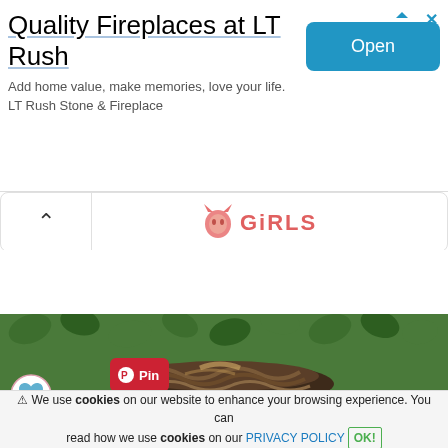[Figure (screenshot): Advertisement banner for LT Rush fireplaces with blue Open button, triangle arrow icon, and X close icon]
Quality Fireplaces at LT Rush
Add home value, make memories, love your life. LT Rush Stone & Fireplace
[Figure (logo): Girls website logo with pink cat silhouette and GIRLS text in pink/salmon color]
[Figure (photo): Photo of a braided updo hairstyle with greenery/ivy leaves in background, with Pinterest Pin badge overlay]
⚠ We use cookies on our website to enhance your browsing experience. You can read how we use cookies on our PRIVACY POLICY OK!